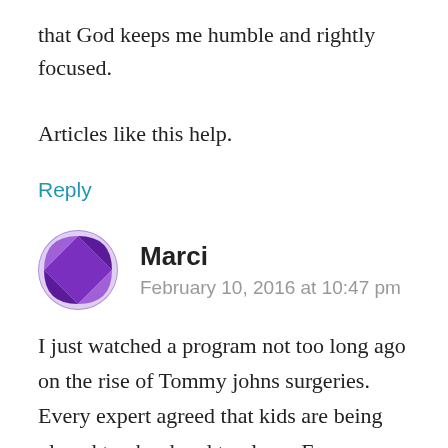that God keeps me humble and rightly focused. Articles like this help.
Reply
Marci
February 10, 2016 at 10:47 pm
I just watched a program not too long ago on the rise of Tommy johns surgeries. Every expert agreed that kids are being played too hard and too long. For one thing, their bodies just aren't developed enough to handle the strain. In fact, most experts believe that if your goal is for your